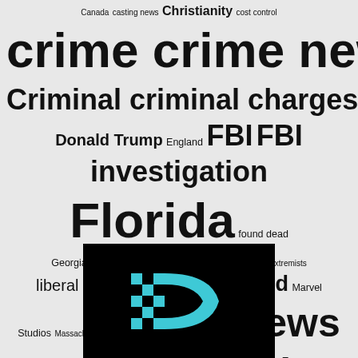[Figure (infographic): Word cloud containing news-related tags and topics of varying font sizes, including: Canada, casting news, Christianity, cost control, crime, crime news, Criminal, criminal charges, Donald Trump, England, FBI, FBI investigation, Florida, found dead, Georgia, Health News, Illinois, Islamic extremists, liberal bias, London, man arrested, Marvel Studios, Massachusetts, Movie News, murder case, New York, Ohio, Pennsylvania, President Obama, President Trump, religion, Religion News, Technology, Television news, Texas, United Kingdom, US News, Washington, Washington DC, World News]
[Figure (logo): Black background with a stylized teal/cyan letter D made of checkerboard and solid shapes — appears to be a digital news or media brand logo]